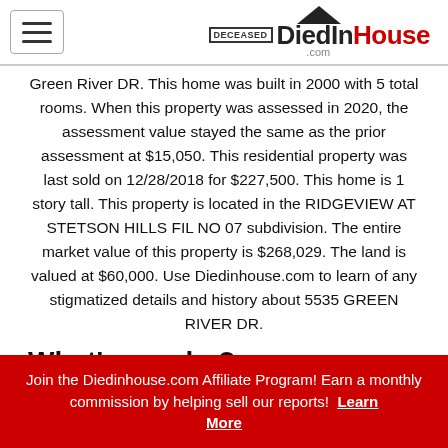DiedInHouse.com
Green River DR. This home was built in 2000 with 5 total rooms. When this property was assessed in 2020, the assessment value stayed the same as the prior assessment at $15,050. This residential property was last sold on 12/28/2018 for $227,500. This home is 1 story tall. This property is located in the RIDGEVIEW AT STETSON HILLS FIL NO 07 subdivision. The entire market value of this property is $268,029. The land is valued at $60,000. Use Diedinhouse.com to learn of any stigmatized details and history about 5535 GREEN RIVER DR.
What's nearby?
Cemeteries
Join the Diedinhouse.com Affiliate Program! Earn a monthly commission by helping sell our reports! Learn More